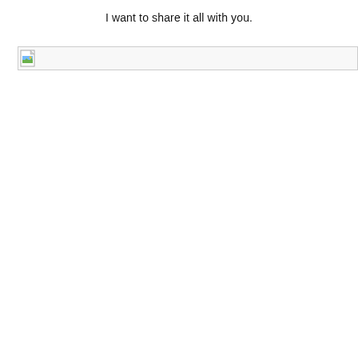I want to share it all with you.
[Figure (other): Broken image placeholder — a small icon showing a torn/missing image thumbnail with a green landscape icon, inside a bordered bar spanning the width of the page.]